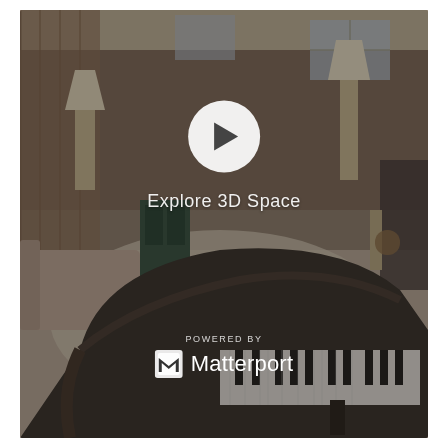[Figure (screenshot): Matterport 3D virtual tour embed showing a furnished living room with a grand piano in the foreground, lamps, furniture, and a play button overlay with 'Explore 3D Space' label and Matterport branding at the bottom]